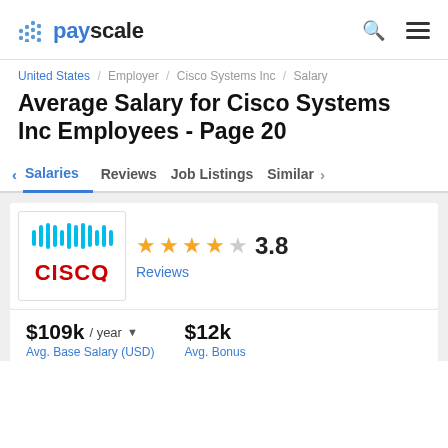[Figure (logo): PayScale logo with grid of dots and text 'payscale' in blue]
United States / Employer / Cisco Systems Inc / Salary
Average Salary for Cisco Systems Inc Employees - Page 20
Salaries  Reviews  Job Listings  Similar ›
[Figure (logo): Cisco logo with stylized bars above the word CISCO in red]
★★★★☆ 3.8
Reviews
$109k / year ▾  |  $12k
Avg. Base Salary (USD)  |  Avg. Bonus